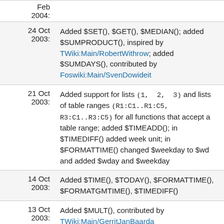| Date | Description |
| --- | --- |
| Feb 2004: | (partial row visible at top) |
| 24 Oct 2003: | Added $SET(), $GET(), $MEDIAN(); added $SUMPRODUCT(), inspired by TWiki:Main/RobertWithrow; added $SUMDAYS(), contributed by Foswiki:Main/SvenDowideit |
| 21 Oct 2003: | Added support for lists (1, 2, 3) and lists of table ranges (R1:C1..R1:C5, R3:C1..R3:C5) for all functions that accept a table range; added $TIMEADD(); in $TIMEDIFF() added week unit; in $FORMATTIME() changed $weekday to $wd and added $wday and $weekday |
| 14 Oct 2003: | Added $TIME(), $TODAY(), $FORMATTIME(), $FORMATGMTIME(), $TIMEDIFF() |
| 13 Oct 2003: | Added $MULT(), contributed by TWiki:Main/GerritJanBaarda |
| 30 Jul 2003: | Added $TRANSLATE() |